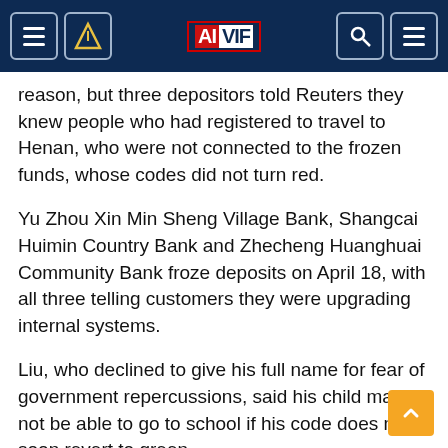AIVIF
reason, but three depositors told Reuters they knew people who had registered to travel to Henan, who were not connected to the frozen funds, whose codes did not turn red.
Yu Zhou Xin Min Sheng Village Bank, Shangcai Huimin Country Bank and Zhecheng Huanghuai Community Bank froze deposits on April 18, with all three telling customers they were upgrading internal systems.
Liu, who declined to give his full name for fear of government repercussions, said his child may not be able to go to school if his code does not soon revert to green.
"I can't do anything, I can't go anywhere. You're treated as though you're a criminal. It infringes on my